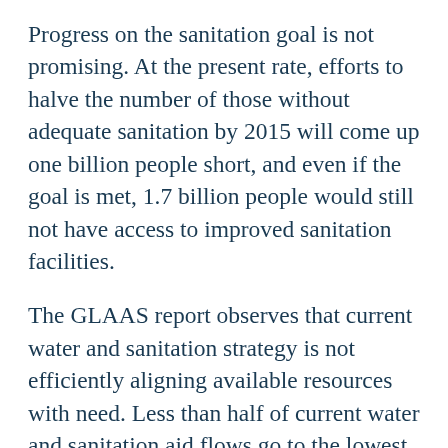Progress on the sanitation goal is not promising. At the present rate, efforts to halve the number of those without adequate sanitation by 2015 will come up one billion people short, and even if the goal is met, 1.7 billion people would still not have access to improved sanitation facilities.
The GLAAS report observes that current water and sanitation strategy is not efficiently aligning available resources with need. Less than half of current water and sanitation aid flows go to the lowest income countries. Clarissa Brocklehurst, Chief of Water, Sanitation, and Hygiene for UNICEF, pointed out that the "countries that are most in need are the most